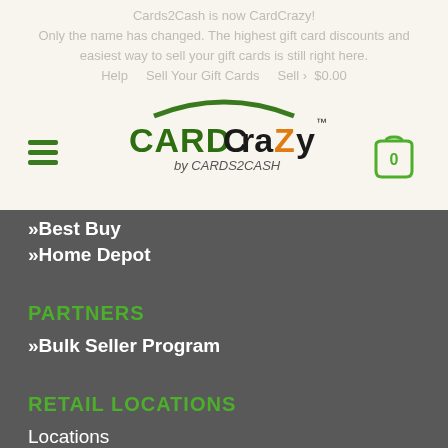[Figure (logo): CardCrazy by CARDS2CASH logo with hamburger menu and cart icon]
»Best Buy
»Home Depot
PARTNERS
»Bulk Seller Program
RETAIL LOCATIONS
Locations
Website Terms of Use
Privacy Policy